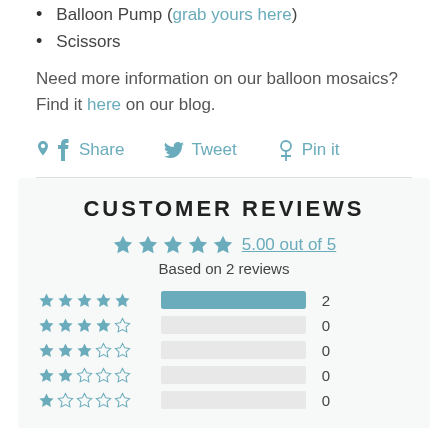Balloon Pump (grab yours here)
Scissors
Need more information on our balloon mosaics? Find it here on our blog.
Share  Tweet  Pin it
CUSTOMER REVIEWS
5.00 out of 5 — Based on 2 reviews
[Figure (infographic): Star rating breakdown: 5 stars=2, 4 stars=0, 3 stars=0, 2 stars=0, 1 star=0]